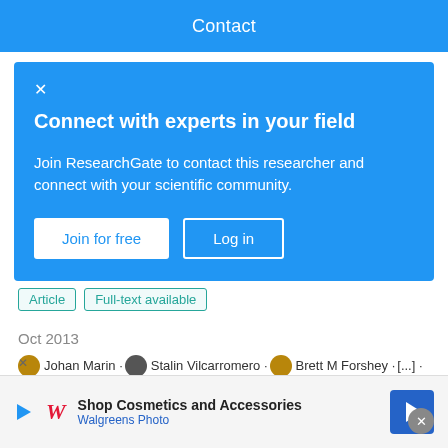Contact
Connect with experts in your field
Join ResearchGate to contact this researcher and connect with your scientific community.
Join for free | Log in
Article   Full-text available
Oct 2013
Johan Marin · Stalin Vilcarromero · Brett M Forshey · [...] · Eric Halsey
El dengue es la arbovirosis más importante del mundo y causa un amplio espectro clínico. Presentamos el primer caso de dengue causado por el serotipo 4 (DENV-4) en Perú con compromiso gastrointestinal (colecistitis aguda alitiásica y
Advertisement
Shop Cosmetics and Accessories
Walgreens Photo